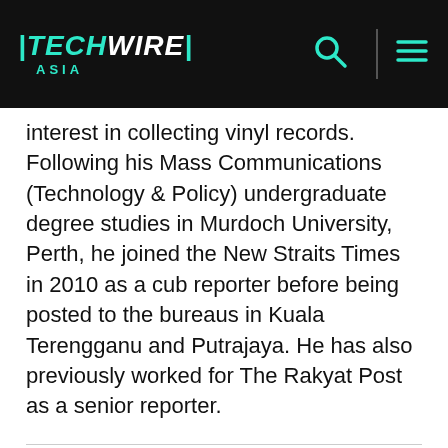TECHWIRE ASIA
interest in collecting vinyl records. Following his Mass Communications (Technology & Policy) undergraduate degree studies in Murdoch University, Perth, he joined the New Straits Times in 2010 as a cub reporter before being posted to the bureaus in Kuala Terengganu and Putrajaya. He has also previously worked for The Rakyat Post as a senior reporter.
READ MORE
Thailand data center market gets another player